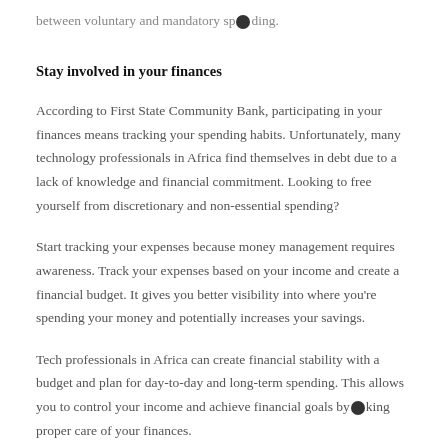between voluntary and mandatory spending.
Stay involved in your finances
According to First State Community Bank, participating in your finances means tracking your spending habits. Unfortunately, many technology professionals in Africa find themselves in debt due to a lack of knowledge and financial commitment. Looking to free yourself from discretionary and non-essential spending?
Start tracking your expenses because money management requires awareness. Track your expenses based on your income and create a financial budget. It gives you better visibility into where you're spending your money and potentially increases your savings.
Tech professionals in Africa can create financial stability with a budget and plan for day-to-day and long-term spending. This allows you to control your income and achieve financial goals by taking proper care of your finances.